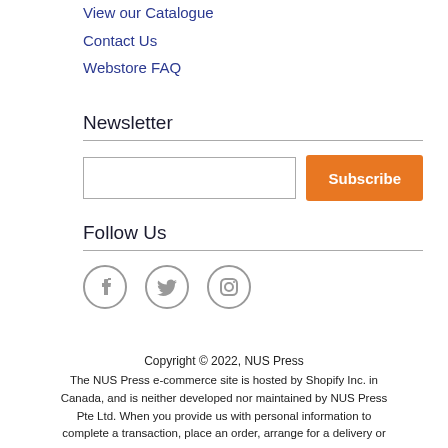View our Catalogue
Contact Us
Webstore FAQ
Newsletter
[Figure (other): Email input field and orange Subscribe button]
Follow Us
[Figure (other): Social media icons: Facebook, Twitter, Instagram]
Copyright © 2022, NUS Press
The NUS Press e-commerce site is hosted by Shopify Inc. in Canada, and is neither developed nor maintained by NUS Press Pte Ltd. When you provide us with personal information to complete a transaction, place an order, arrange for a delivery or